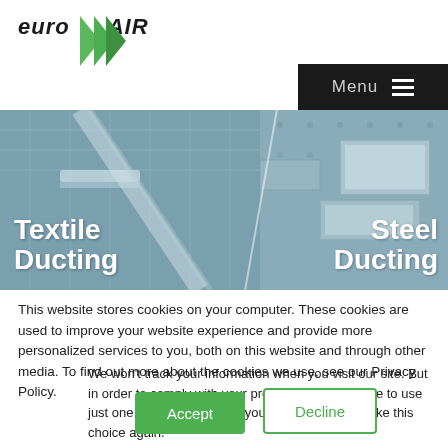[Figure (logo): Euro Air logo with green chevron/arrow graphic and bold italic text 'euro' and 'AIR']
[Figure (screenshot): Navigation menu bar (dark/black background) with 'Menu' text and hamburger icon on the right side of the header]
[Figure (photo): Two-panel banner image: left panel shows 'Textile Ducting' text over a photo of industrial textile ducting in a ceiling; right panel shows 'Steel Ducting' text over a photo of steel ductwork]
This website stores cookies on your computer. These cookies are used to improve your website experience and provide more personalized services to you, both on this website and through other media. To find out more about the cookies we use, see our Privacy Policy.
We won't track your information when you visit our site. But in order to comply with your preferences, we'll have to use just one tiny cookie so that you're not asked to make this choice again.
Accept
Decline